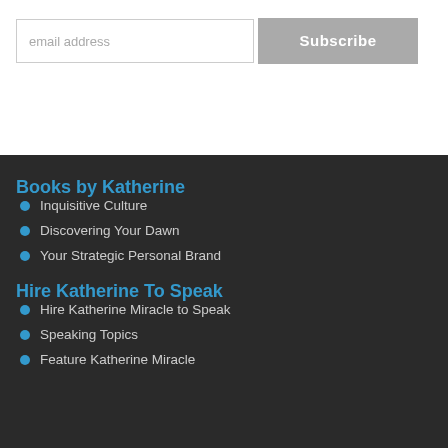email address
Subscribe
Books by Katherine
Inquisitive Culture
Discovering Your Dawn
Your Strategic Personal Brand
Hire Katherine To Speak
Hire Katherine Miracle to Speak
Speaking Topics
Feature Katherine Miracle